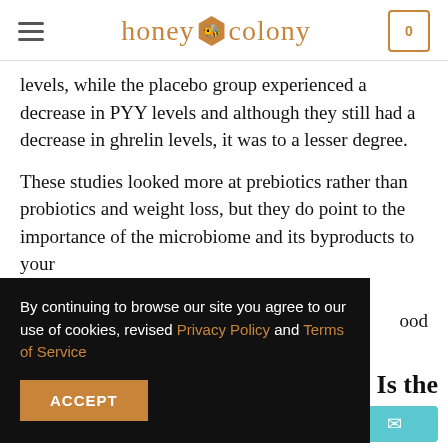honey colony
levels, while the placebo group experienced a decrease in PYY levels and although they still had a decrease in ghrelin levels, it was to a lesser degree.
These studies looked more at prebiotics rather than probiotics and weight loss, but they do point to the importance of the microbiome and its byproducts to your
By continuing to browse our site you agree to our use of cookies, revised Privacy Policy and Terms of Service
Is the